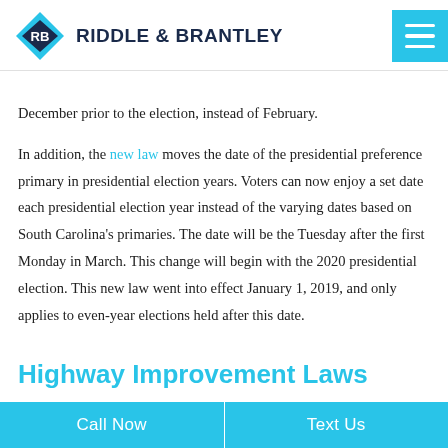RIDDLE & BRANTLEY
December prior to the election, instead of February.

In addition, the new law moves the date of the presidential preference primary in presidential election years.  Voters can now enjoy a set date each presidential election year instead of the varying dates based on South Carolina's primaries.  The date will be the Tuesday after the first Monday in March.  This change will begin with the 2020 presidential election.  This new law went into effect January 1, 2019, and only applies to even-year elections held after this date.
Highway Improvement Laws
Call Now   Text Us